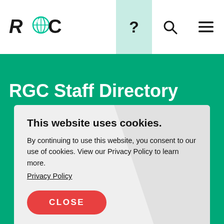RGC
RGC Staff Directory
This website uses cookies.
By continuing to use this website, you consent to our use of cookies. View our Privacy Policy to learn more.
Privacy Policy
CLOSE